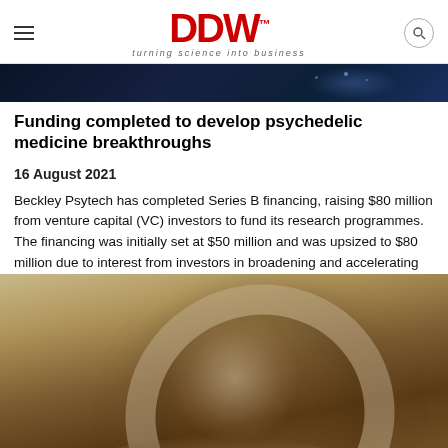DDW — turning science into business
[Figure (photo): Dark blue banner header image with light dot/particle effects on right side]
Funding completed to develop psychedelic medicine breakthroughs
16 August 2021
Beckley Psytech has completed Series B financing, raising $80 million from venture capital (VC) investors to fund its research programmes. The financing was initially set at $50 million and was upsized to $80 million due to interest from investors in broadening and accelerating
[Figure (photo): Close-up photograph of a glass jar tipped on its side with copper coins spilling out onto a wooden surface]